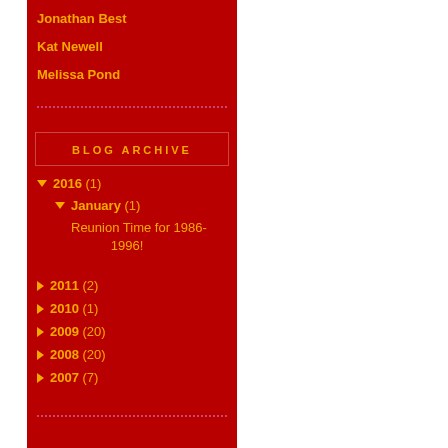Jonathan Best
Kat Newell
Melissa Pond
BLOG ARCHIVE
▼ 2016 (1)
▼ January (1)
Reunion Time for 1986-1996!
► 2011 (2)
► 2010 (1)
► 2009 (20)
► 2008 (20)
► 2007 (7)